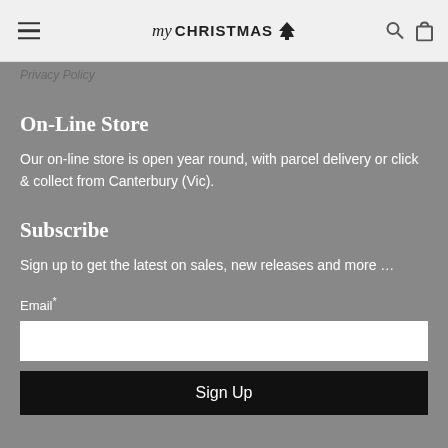MyChristmas
Privacy Policy
On-Line Store
Our on-line store is open year round, with parcel delivery or click & collect from Canterbury (Vic).
Subscribe
Sign up to get the latest on sales, new releases and more …
Email*